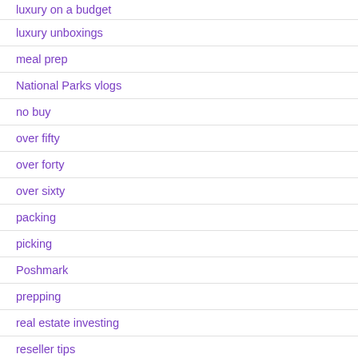luxury on a budget
luxury unboxings
meal prep
National Parks vlogs
no buy
over fifty
over forty
over sixty
packing
picking
Poshmark
prepping
real estate investing
reseller tips